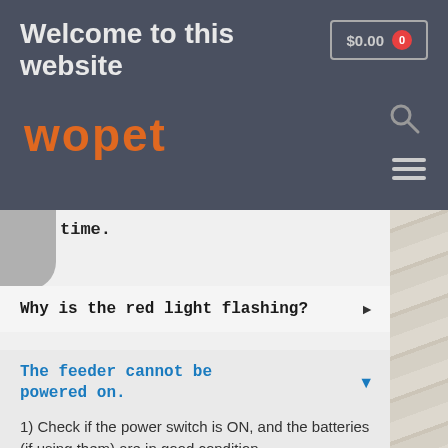Welcome to this website
[Figure (logo): wopet brand logo in orange stylized font]
time.
Why is the red light flashing?
The feeder cannot be powered on.
1) Check if the power switch is ON, and the batteries (if using them) are in good condition.